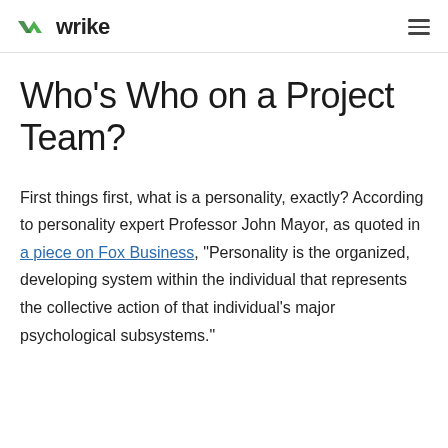wrike
Who’s Who on a Project Team?
First things first, what is a personality, exactly? According to personality expert Professor John Mayor, as quoted in a piece on Fox Business, “Personality is the organized, developing system within the individual that represents the collective action of that individual’s major psychological subsystems."